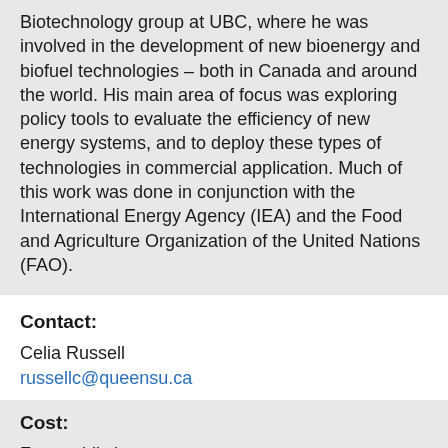Biotechnology group at UBC, where he was involved in the development of new bioenergy and biofuel technologies – both in Canada and around the world. His main area of focus was exploring policy tools to evaluate the efficiency of new energy systems, and to deploy these types of technologies in commercial application. Much of this work was done in conjunction with the International Energy Agency (IEA) and the Food and Agriculture Organization of the United Nations (FAO).
Contact:
Celia Russell
russellc@queensu.ca
Cost:
Free public lecture
Registration:
n/a
For More Info